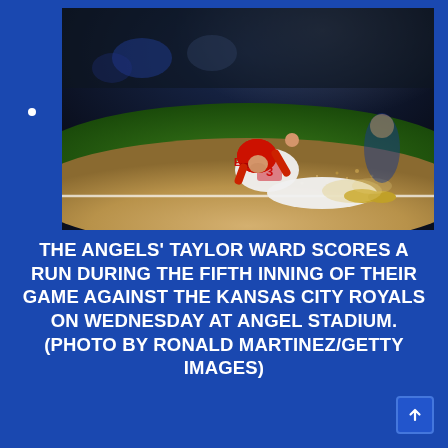[Figure (photo): Baseball player Taylor Ward (#3) of the Los Angeles Angels wearing a white uniform and red helmet, sliding into home plate during a night game, with dirt and dust flying around him.]
THE ANGELS' TAYLOR WARD SCORES A RUN DURING THE FIFTH INNING OF THEIR GAME AGAINST THE KANSAS CITY ROYALS ON WEDNESDAY AT ANGEL STADIUM. (PHOTO BY RONALD MARTINEZ/GETTY IMAGES)